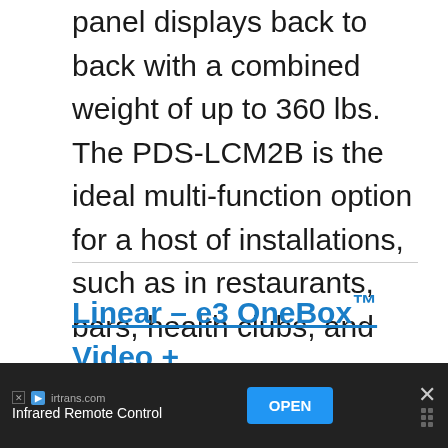panel displays back to back with a combined weight of up to 360 lbs. The PDS-LCM2B is the ideal multi-function option for a host of installations, such as in restaurants, bars, health clubs, and arenas.
Linear – e3 OneBox™ Video + Access Control
[Figure (photo): Partial view of Linear e3 OneBox product image at bottom of page]
Linear's e3 OneBox™